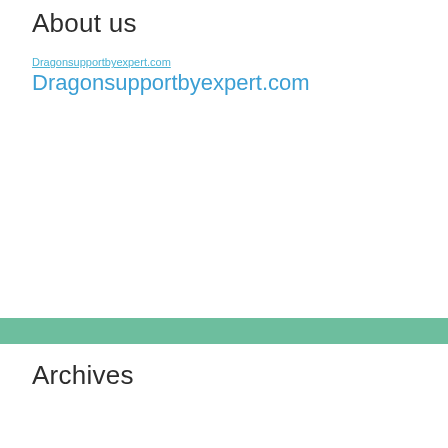About us
Dragonsupportbyexpert.com
Archives